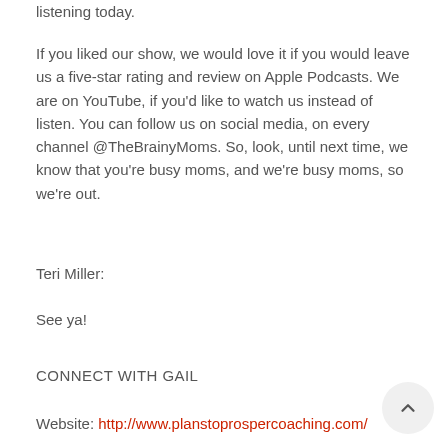listening today.
If you liked our show, we would love it if you would leave us a five-star rating and review on Apple Podcasts. We are on YouTube, if you'd like to watch us instead of listen. You can follow us on social media, on every channel @TheBrainyMoms. So, look, until next time, we know that you're busy moms, and we're busy moms, so we're out.
Teri Miller:
See ya!
CONNECT WITH GAIL
Website: http://www.planstoprospercoaching.com/